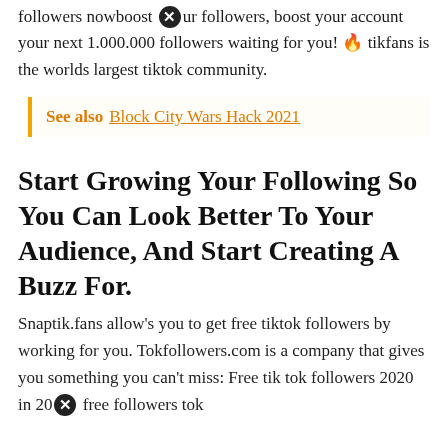followers nowboost your followers, boost your account your next 1.000.000 followers waiting for you! 🔥 tikfans is the worlds largest tiktok community.
See also  Block City Wars Hack 2021
Start Growing Your Following So You Can Look Better To Your Audience, And Start Creating A Buzz For.
Snaptik.fans allow's you to get free tiktok followers by working for you. Tokfollowers.com is a company that gives you something you can't miss: Free tik tok followers 2020 in 20... free followers tok...